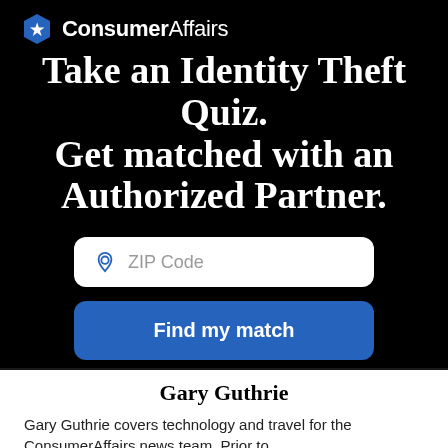ConsumerAffairs
Take an Identity Theft Quiz. Get matched with an Authorized Partner.
[Figure (screenshot): ZIP Code input field with location pin icon on white rounded rectangle background]
[Figure (screenshot): Blue rounded button with text 'Find my match']
Gary Guthrie
Gary Guthrie covers technology and travel for the ConsumerAffairs news team. Prior to